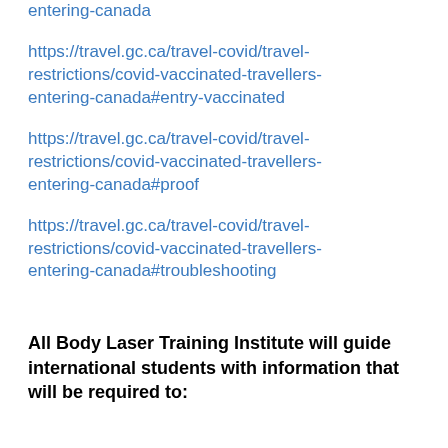entering-canada
https://travel.gc.ca/travel-covid/travel-restrictions/covid-vaccinated-travellers-entering-canada#entry-vaccinated
https://travel.gc.ca/travel-covid/travel-restrictions/covid-vaccinated-travellers-entering-canada#proof
https://travel.gc.ca/travel-covid/travel-restrictions/covid-vaccinated-travellers-entering-canada#troubleshooting
All Body Laser Training Institute will guide international students with information that will be required to: